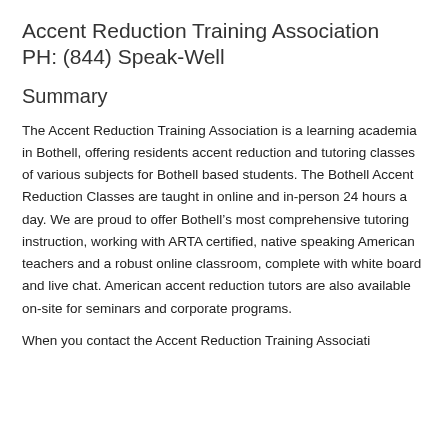Accent Reduction Training Association PH: (844) Speak-Well
Summary
The Accent Reduction Training Association is a learning academia in Bothell, offering residents accent reduction and tutoring classes of various subjects for Bothell based students. The Bothell Accent Reduction Classes are taught in online and in-person 24 hours a day. We are proud to offer Bothell’s most comprehensive tutoring instruction, working with ARTA certified, native speaking American teachers and a robust online classroom, complete with white board and live chat. American accent reduction tutors are also available on-site for seminars and corporate programs.
When you contact the Accent Reduction Training Associati...